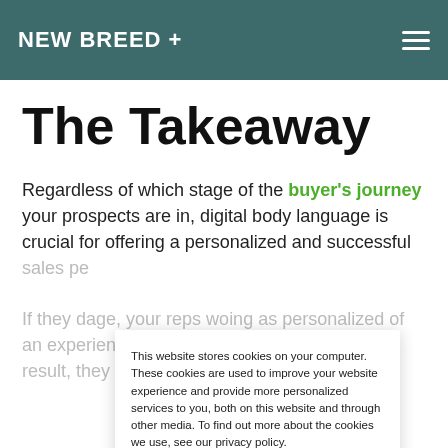NEW BREED +
The Takeaway
Regardless of which stage of the buyer's journey your prospects are in, digital body language is crucial for offering a personalized and successful sales pe...
If they d... age, your reps wo... as personalized of an experience to prosp... they could be, and, as a result, they will close less deals overall.
This website stores cookies on your computer. These cookies are used to improve your website experience and provide more personalized services to you, both on this website and through other media. To find out more about the cookies we use, see our privacy policy.
ACCEPT